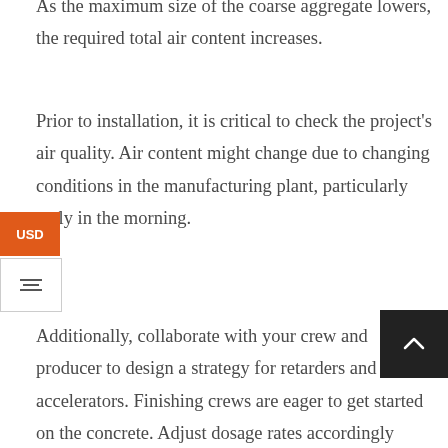As the maximum size of the coarse aggregate lowers, the required total air content increases.
Prior to installation, it is critical to check the project's air quality. Air content might change due to changing conditions in the manufacturing plant, particularly early in the morning.
Additionally, collaborate with your crew and producer to design a strategy for retarders and accelerators. Finishing crews are eager to get started on the concrete. Adjust dosage rates accordingly when the concrete and